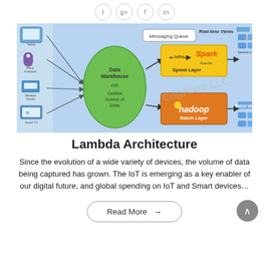[Figure (schematic): Lambda Architecture diagram showing Data Warehouse/Central Source of Data (green ellipse) feeding into Speed Layer (Kafka + Apache Spark, yellow box) and Batch Layer (Hadoop, orange box), with Messaging Queue, Real-time Views, Service Layer, Batch Views, and Business Analysis output shown with device icons on left and right.]
Lambda Architecture
Since the evolution of a wide variety of devices, the volume of data being captured has grown. The IoT is emerging as a key enabler of our digital future, and global spending on IoT and Smart devices...